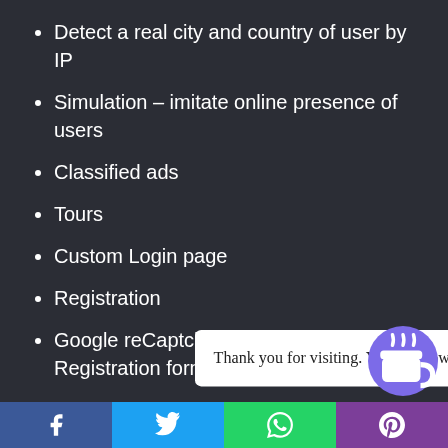Detect a real city and country of user by IP
Simulation – imitate online presence of users
Classified ads
Tours
Custom Login page
Registration
Google reCaptcha in Login and Registration forms
Restrict non-registered users to view profiles
Subscription and Payment:
PayPal and Paystack Payment gateways. More gateways...
Create...
Thank you for visiting. You can now buy me a coffee!